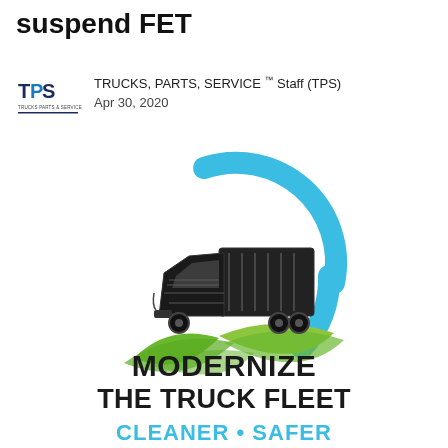suspend FET
TRUCKS, PARTS, SERVICE ™ Staff (TPS)
Apr 30, 2020
[Figure (logo): Modernize The Truck Fleet logo: a semi-truck illustration with a blue circular arc behind it and green leaf/wave shapes below. Text reads MODERNIZE THE TRUCK FLEET CLEANER • SAFER]